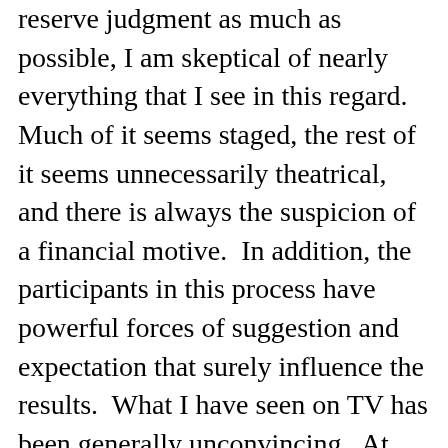reserve judgment as much as possible, I am skeptical of nearly everything that I see in this regard.  Much of it seems staged, the rest of it seems unnecessarily theatrical, and there is always the suspicion of a financial motive.  In addition, the participants in this process have powerful forces of suggestion and expectation that surely influence the results.  What I have seen on TV has been generally unconvincing.  At the same time, some of it might be valid, as I cannot read the inner motives of the people involved.   Nevertheless, I am more easily persuaded when the effects happen directly to someone I know well or to me personally, so that I know that nothing bogus is going on.  The discernment is much easier in that case.
In this experience in my classroom,  I had not the